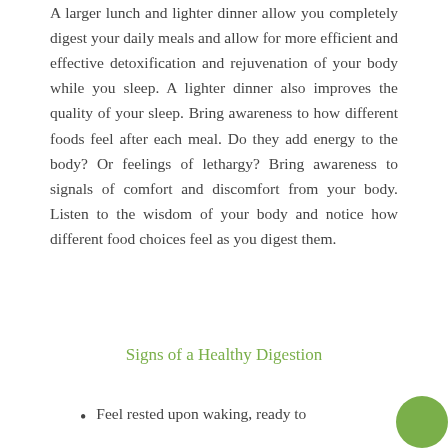A larger lunch and lighter dinner allow you completely digest your daily meals and allow for more efficient and effective detoxification and rejuvenation of your body while you sleep. A lighter dinner also improves the quality of your sleep. Bring awareness to how different foods feel after each meal. Do they add energy to the body? Or feelings of lethargy? Bring awareness to signals of comfort and discomfort from your body. Listen to the wisdom of your body and notice how different food choices feel as you digest them.
Signs of a Healthy Digestion
Feel rested upon waking, ready to